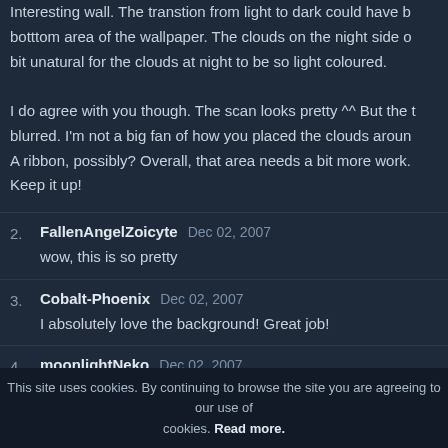Interesting wall. The transition from light to dark could have been smoother in the botttom area of the wallpaper. The clouds on the night side of the image look a bit unatural for the clouds at night to be so light coloured.

I do agree with you though. The scan looks pretty ^^ But the text looks a bit blurred. I'm not a big fan of how you placed the clouds around the character. A ribbon, possibly? Overall, that area needs a bit more work.

Keep it up!
2. FallenAngelZoicyte Dec 02, 2007 — wow, this is so pretty
3. Cobalt-Phoenix Dec 02, 2007 — I absolutely love the background! Great job!
4. moonlightNeko Dec 02, 2007 — its really beautiful =3
5. Kaisuke90 Dec 02, 2007 — Kireiiii ^__^
This site uses cookies. By continuing to browse the site you are agreeing to our use of cookies. Read more.